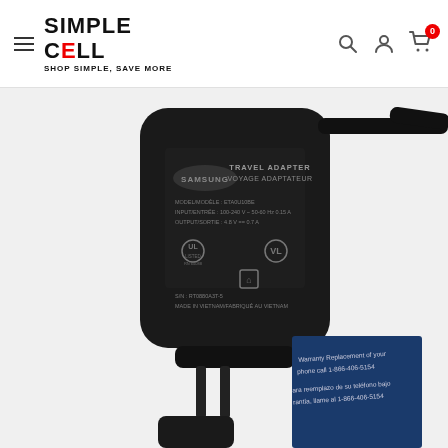Simple Cell — SHOP SIMPLE, SAVE MORE — navigation header with search, account, and cart icons
[Figure (photo): Samsung Travel Adapter / Voyage Adaptateur in black, shown from the back with visible label text and prong plugs, with a cable extending to the right. A partial warranty card is visible in the lower right corner. Bottom shows a partial view of a second charger.]